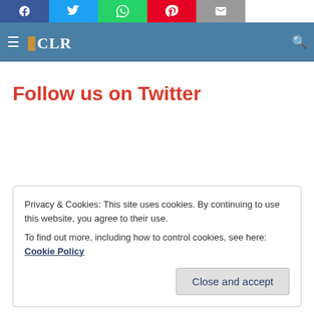[Figure (other): Social share buttons bar: Facebook (blue), Twitter (light blue), WhatsApp (green), Pinterest (red), Email (grey)]
[Figure (other): Navigation bar with hamburger menu, CLR logo with orange book icon, and search icon on the right]
Follow us on Twitter
Privacy & Cookies: This site uses cookies. By continuing to use this website, you agree to their use.
To find out more, including how to control cookies, see here: Cookie Policy
Close and accept